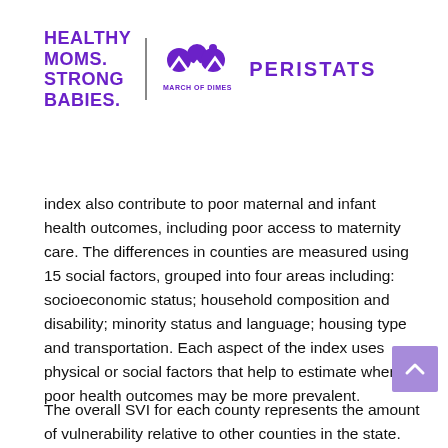[Figure (logo): Healthy Moms. Strong Babies. March of Dimes PeriStats logo with purple text and March of Dimes icon]
index also contribute to poor maternal and infant health outcomes, including poor access to maternity care. The differences in counties are measured using 15 social factors, grouped into four areas including: socioeconomic status; household composition and disability; minority status and language; housing type and transportation. Each aspect of the index uses physical or social factors that help to estimate where poor health outcomes may be more prevalent.
The overall SVI for each county represents the amount of vulnerability relative to other counties in the state. The SVI